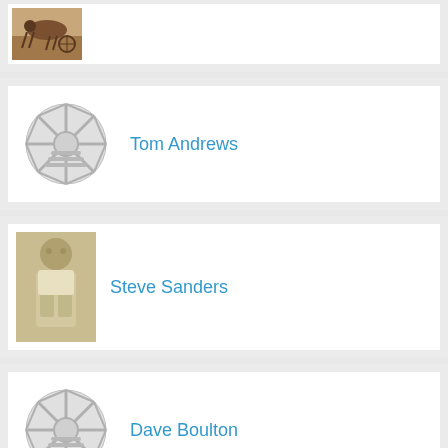[Figure (photo): Partial view of a horse racing / harness racing photo at top of page]
Tom Andrews
Steve Sanders
Dave Boulton
Ken Richardson